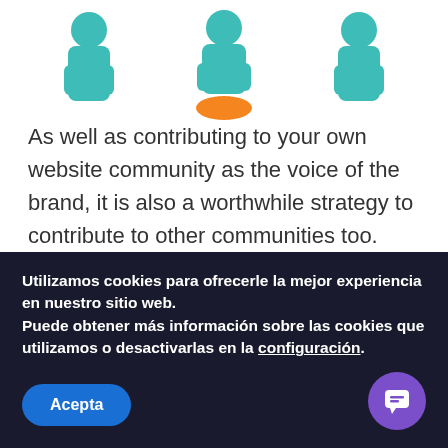[Figure (illustration): Three illustrated character figures at the top of the page, partially visible — two teal/green figures on left and right, one teal figure with orange base in the center.]
As well as contributing to your own website community as the voice of the brand, it is also a worthwhile strategy to contribute to other communities too.
Think about the sites and social media platforms that are relevant to your niche. Develop your voice on these. Contribute to relevant discussions and spread
Utilizamos cookies para ofrecerle la mejor experiencia en nuestro sitio web.
Puede obtener más información sobre las cookies que utilizamos o desactivarlas en la configuración.
Acepta